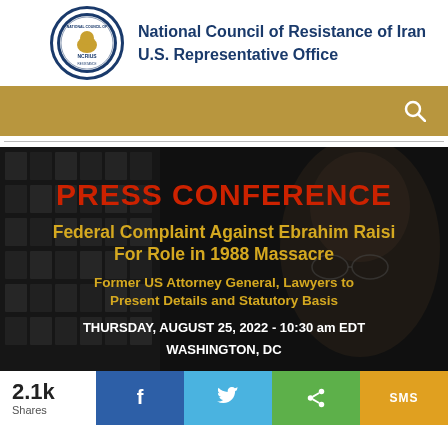[Figure (logo): National Council of Resistance of Iran circular logo with NCRIUS text]
National Council of Resistance of Iran U.S. Representative Office
[Figure (other): Gold navigation bar with search icon]
[Figure (photo): Dark press conference announcement image with text overlays showing a person's face in background]
2.1k Shares
[Figure (other): Social share buttons: Facebook, Twitter, Share, SMS]